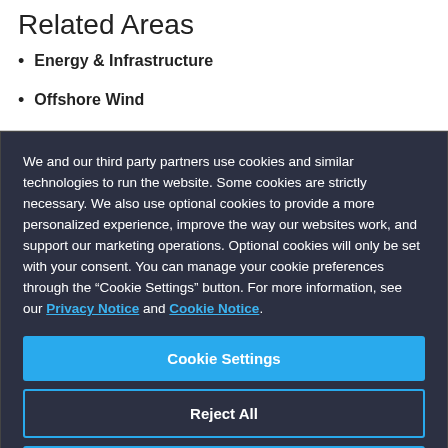Related Areas
Energy & Infrastructure
Offshore Wind
We and our third party partners use cookies and similar technologies to run the website. Some cookies are strictly necessary. We also use optional cookies to provide a more personalized experience, improve the way our websites work, and support our marketing operations. Optional cookies will only be set with your consent. You can manage your cookie preferences through the “Cookie Settings” button. For more information, see our Privacy Notice and Cookie Notice.
Cookie Settings
Reject All
Accept All